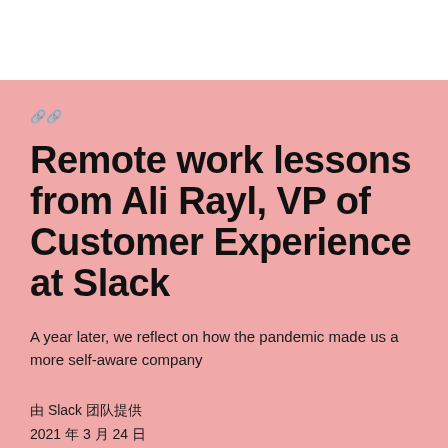🔗🔗
Remote work lessons from Ali Rayl, VP of Customer Experience at Slack
A year later, we reflect on how the pandemic made us a more self-aware company
由 Slack 团队提供
2021 年 3 月 24 日